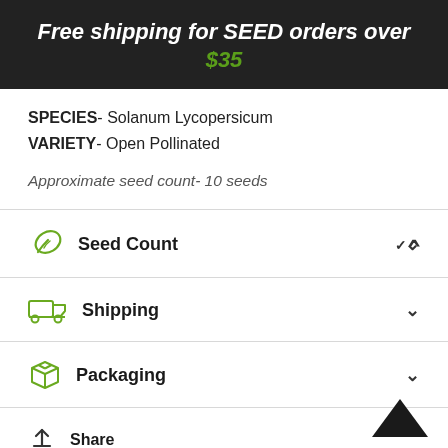Free shipping for SEED orders over $35
SPECIES- Solanum Lycopersicum
VARIETY- Open Pollinated
Approximate seed count- 10 seeds
Seed Count
Shipping
Packaging
Share